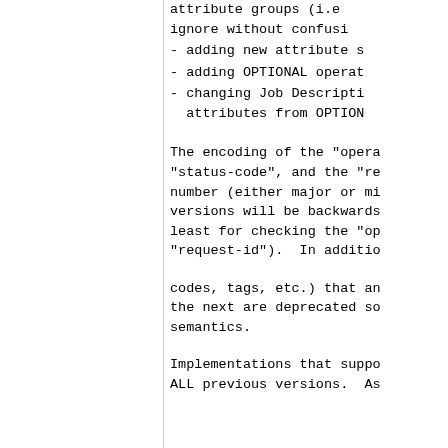attribute groups (i.e ignore without confusi
- adding new attribute s
- adding OPTIONAL operat
- changing Job Descripti attributes from OPTION
The encoding of the "opera "status-code", and the "re number (either major or mi versions will be backwards least for checking the "op "request-id"). In additio
codes, tags, etc.) that an the next are deprecated so semantics.
Implementations that suppo ALL previous versions. As